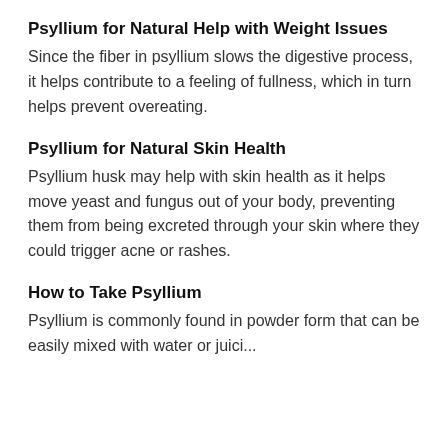Psyllium for Natural Help with Weight Issues
Since the fiber in psyllium slows the digestive process, it helps contribute to a feeling of fullness, which in turn helps prevent overeating.
Psyllium for Natural Skin Health
Psyllium husk may help with skin health as it helps move yeast and fungus out of your body, preventing them from being excreted through your skin where they could trigger acne or rashes.
How to Take Psyllium
Psyllium is commonly found in powder form that can be easily mixed with water or juice...